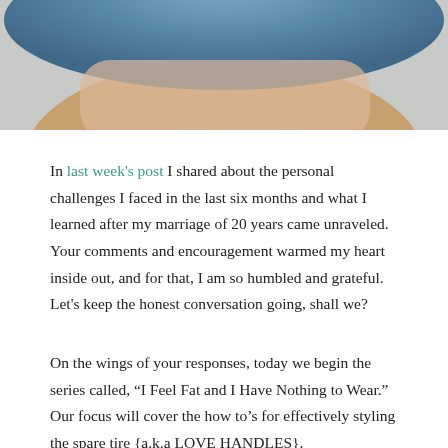[Figure (photo): Close-up photo of a person's midsection wearing a denim jacket, showing bare skin near the waist area against a light grey background.]
In last week's post I shared about the personal challenges I faced in the last six months and what I learned after my marriage of 20 years came unraveled. Your comments and encouragement warmed my heart inside out, and for that, I am so humbled and grateful. Let's keep the honest conversation going, shall we?
On the wings of your responses, today we begin the series called, “I Feel Fat and I Have Nothing to Wear.” Our focus will cover the how to’s for effectively styling the spare tire {a.k.a LOVE HANDLES}.